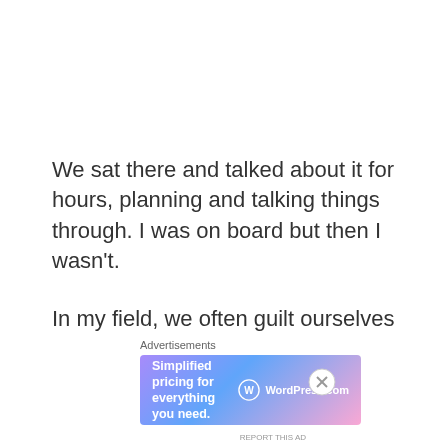We sat there and talked about it for hours, planning and talking things through. I was on board but then I wasn't.
In my field, we often guilt ourselves into staying because we don't want to leave mid-semester, or leave our co-workers behind with more work and what about the students?I kept thinking
Advertisements
[Figure (other): WordPress.com advertisement banner with gradient background (purple to pink). Text reads: 'Simplified pricing for everything you need.' with WordPress.com logo on the right.]